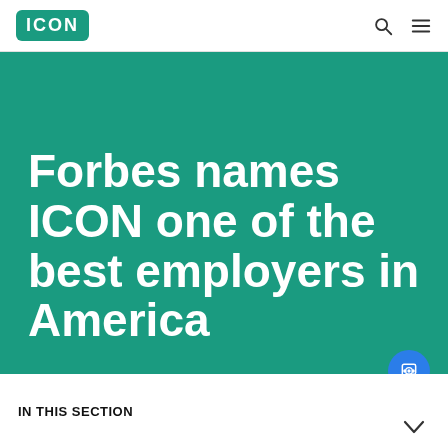ICON
Forbes names ICON one of the best employers in America
IN THIS SECTION